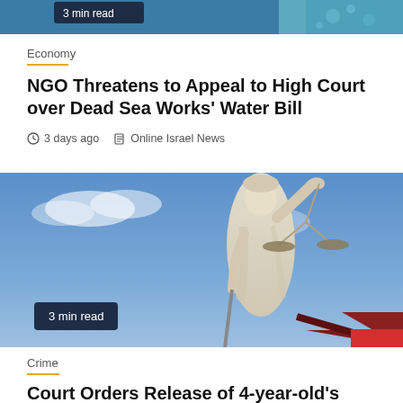[Figure (photo): Partial top strip of a previous article image — appears to show water/bubbles with a '3 min read' badge at top left]
Economy
NGO Threatens to Appeal to High Court over Dead Sea Works' Water Bill
3 days ago   Online Israel News
[Figure (photo): Statue of Lady Justice (blindfolded woman holding scales) against a blue sky, with a '3 min read' badge in the lower left]
Crime
Court Orders Release of 4-year-old's Body on Family's Request